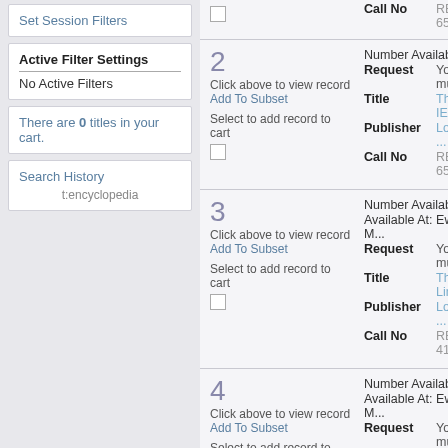Set Session Filters
Active Filter Settings
No Active Filters
There are 0 titles in your cart.
Search History
t:encyclopedia
2 — Click above to view record, Add To Subset, Select to add record to cart | Number Available: 0 | Request: You mus... | Title: The IEB... | Publisher: London... | Call No: REF 658...
3 — Click above to view record, Add To Subset, Select to add record to cart | Number Available: 1 | Available At: Ewing M... | Request: You mus... | Title: The Ling... | Publisher: London... | Call No: REF 41...
4 — Click above to view record, Add To Subset, Select to add record to cart | Number Available: 3 | Available At: Ewing M... | Request: You mus... | Title: Encyclo... | Edition: 1st ed. | Publisher: Amsterd... | Call No: REF 58...